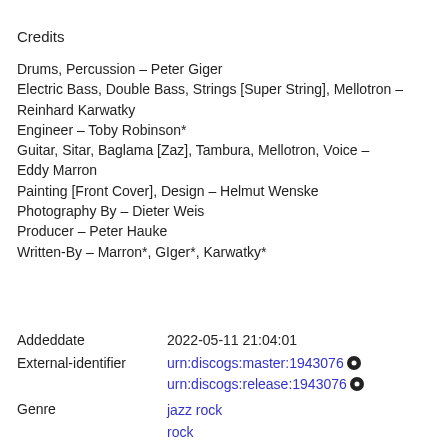Credits
Drums, Percussion – Peter Giger
Electric Bass, Double Bass, Strings [Super String], Mellotron – Reinhard Karwatky
Engineer – Toby Robinson*
Guitar, Sitar, Baglama [Zaz], Tambura, Mellotron, Voice – Eddy Marron
Painting [Front Cover], Design – Helmut Wenske
Photography By – Dieter Weis
Producer – Peter Hauke
Written-By – Marron*, GIger*, Karwatky*
Addeddate    2022-05-11 21:04:01
External-identifier    urn:discogs:master:1943076  urn:discogs:release:1943076
Genre    jazz rock
rock
experimental music